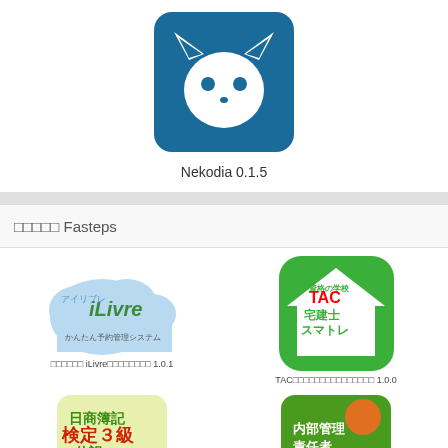[Figure (logo): Nekodia app icon - blue square with white cat silhouette]
Nekodia 0.1.5
□□□□□ Fasteps
[Figure (logo): iLivre app icon - cloud logo with Japanese text]
□□□□□□ iLivre□□□□□□□□ 1.0.1
[Figure (logo): TAC 宅建士スマトレ app icon - green house logo]
TAC□□□□□□□□□□□□□□□ 1.0.0
[Figure (logo): 日商簿記検定3級 仕訳 マラソン app icon]
[Figure (logo): 内部管理責任者 app icon - green with Japanese text]